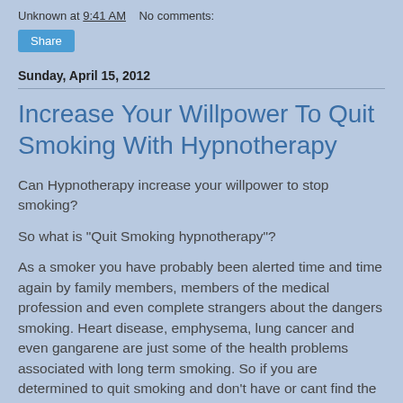Unknown at 9:41 AM    No comments:
Share
Sunday, April 15, 2012
Increase Your Willpower To Quit Smoking With Hypnotherapy
Can Hypnotherapy increase your willpower to stop smoking?
So what is "Quit Smoking hypnotherapy"?
As a smoker you have probably been alerted time and time again by family members, members of the medical profession and even complete strangers about the dangers smoking. Heart disease, emphysema, lung cancer and even gangarene are just some of the health problems associated with long term smoking. So if you are determined to quit smoking and don't have or cant find the willpower then you should seriously consider a "Quit Smoking hypnotherapy"